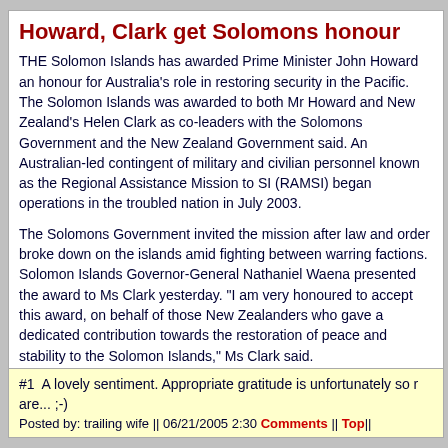Howard, Clark get Solomons honour
THE Solomon Islands has awarded Prime Minister John Howard an honour for Australia's role in restoring security in the Pacific. The Solomon Islands was awarded to both Mr Howard and New Zealand's Helen Clark as co-leaders with the Solomons Government and the New Zealand Government said. An Australian-led contingent of military and civilian personnel known as the Regional Assistance Mission to SI (RAMSI) began operations in the troubled nation in July 2003.

The Solomons Government invited the mission after law and order broke down on the islands amid fighting between warring factions. Solomon Islands Governor-General Nathaniel Waena presented the award to Ms Clark yesterday. "I am very honoured to accept this award, on behalf of those New Zealanders who gave a dedicated contribution towards the restoration of peace and stability to the Solomon Islands," Ms Clark said.
Posted by: Spavirt Pheng6042 || 06/21/2005 00:00 || Comments || Link || E-M...
#1  A lovely sentiment. Appropriate gratitude is unfortunately so r... ;-)
Posted by: trailing wife || 06/21/2005 2:30 Comments || Top||